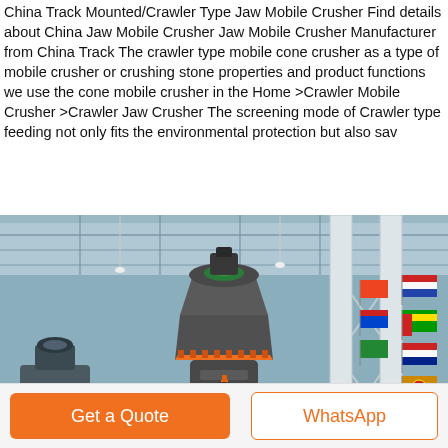China Track Mounted/Crawler Type Jaw Mobile Crusher Find details about China Jaw Mobile Crusher Jaw Mobile Crusher Manufacturer from China Track The crawler type mobile cone crusher as a type of mobile crusher or crushing stone properties and product functions we use the cone mobile crusher in the Home >Crawler Mobile Crusher >Crawler Jaw Crusher The screening mode of Crawler type feeding not only fits the environmental protection but also sav
[Figure (photo): Industrial photo of a large mobile cone crusher machine inside a factory/exhibition hall with white structural columns, various international flags hanging in the background, and industrial equipment visible.]
Get a Quote
WhatsApp